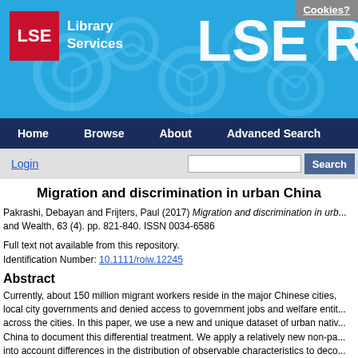[Figure (screenshot): LSE Library Services header banner with blue background, network/molecule decorative graphics, LSE logo in red square, 'Library Services' text, and partial 'LSE R' text on right. Cookies button in top-right corner.]
Home   Browse   About   Advanced Search
Login   [search box]   Search
Migration and discrimination in urban China
Pakrashi, Debayan and Frijters, Paul (2017) Migration and discrimination in urb... and Wealth, 63 (4). pp. 821-840. ISSN 0034-6586
Full text not available from this repository.
Identification Number: 10.1111/roiw.12245
Abstract
Currently, about 150 million migrant workers reside in the major Chinese cities, local city governments and denied access to government jobs and welfare entit... across the cities. In this paper, we use a new and unique dataset of urban nativ... China to document this differential treatment. We apply a relatively new non-pa... into account differences in the distribution of observable characteristics to deco... and estimate the extent of discrimination faced by the migrants. Rural-to-urba...